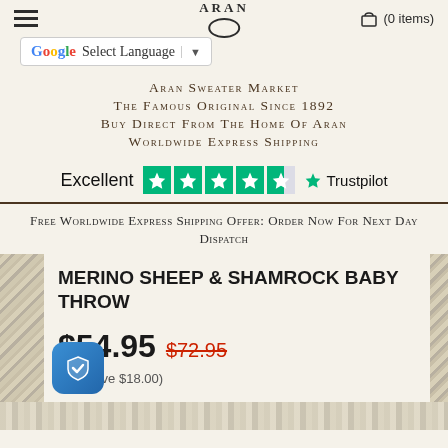ARAN (0 items)
Select Language
ARAN SWEATER MARKET
THE FAMOUS ORIGINAL SINCE 1892
BUY DIRECT FROM THE HOME OF ARAN
WORLDWIDE EXPRESS SHIPPING
Excellent ★★★★½ Trustpilot
Free Worldwide Express Shipping Offer: Order Now For Next Day Dispatch
MERINO SHEEP & SHAMROCK BABY THROW
$54.95 $72.95 (You save $18.00)